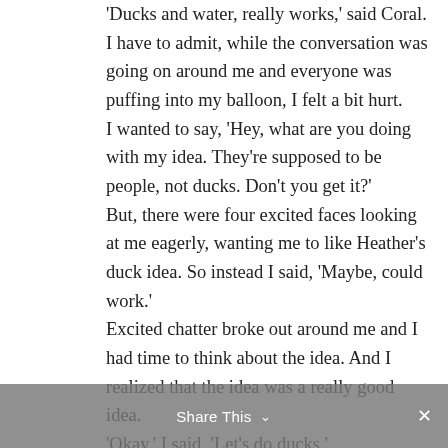'Ducks and water, really works,' said Coral. I have to admit, while the conversation was going on around me and everyone was puffing into my balloon, I felt a bit hurt. I wanted to say, 'Hey, what are you doing with my idea. They're supposed to be people, not ducks. Don't you get it?' But, there were four excited faces looking at me eagerly, wanting me to like Heather's duck idea. So instead I said, 'Maybe, could work.' Excited chatter broke out around me and I had time to think about the idea. And I realized that the idea was a really good idea. 'Okay,' I said, 'Let's do ducks.' And that was the idea that led to the creation of the Quacker family. I let everyone puff into that
Share This ∨  ✕